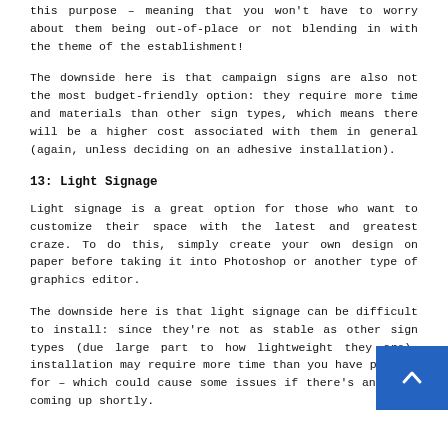this purpose – meaning that you won't have to worry about them being out-of-place or not blending in with the theme of the establishment!
The downside here is that campaign signs are also not the most budget-friendly option: they require more time and materials than other sign types, which means there will be a higher cost associated with them in general (again, unless deciding on an adhesive installation).
13: Light Signage
Light signage is a great option for those who want to customize their space with the latest and greatest craze. To do this, simply create your own design on paper before taking it into Photoshop or another type of graphics editor.
The downside here is that light signage can be difficult to install: since they're not as stable as other sign types (due large part to how lightweight they are), installation may require more time than you have planned for – which could cause some issues if there's an event coming up shortly.